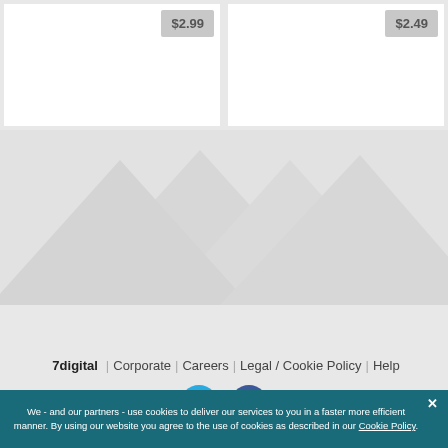$2.99
$2.49
[Figure (other): Decorative watermark background with geometric shapes]
7digital  Corporate  Careers  Legal / Cookie Policy  Help
[Figure (other): Twitter and Facebook social media icons]
Back to the top
We - and our partners - use cookies to deliver our services to you in a faster more efficient manner. By using our website you agree to the use of cookies as described in our Cookie Policy.